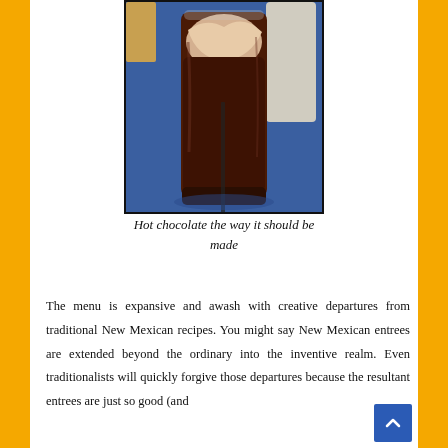[Figure (photo): A tall glass of hot chocolate with layered cream and dark chocolate, sitting on a blue surface with a white container visible in the background.]
Hot chocolate the way it should be made
The menu is expansive and awash with creative departures from traditional New Mexican recipes. You might say New Mexican entrees are extended beyond the ordinary into the inventive realm. Even traditionalists will quickly forgive those departures because the resultant entrees are just so good (and